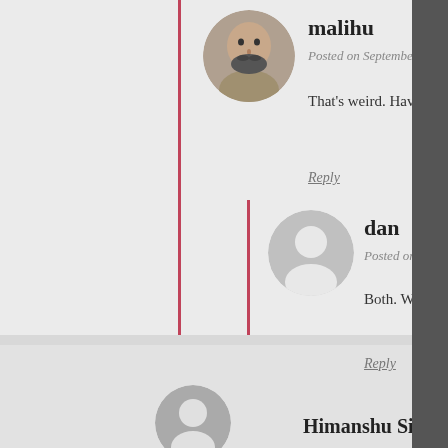[Figure (photo): Avatar photo of malihu, a man with a beard]
malihu
Posted on September 29, 2011 a
That’s weird. Have you check
Reply
[Figure (photo): Generic avatar silhouette for user dan]
dan
Posted on October 4, 20
Both. With the demo a
Reply
[Figure (photo): Partial avatar for Himanshu Singh]
Himanshu Singh